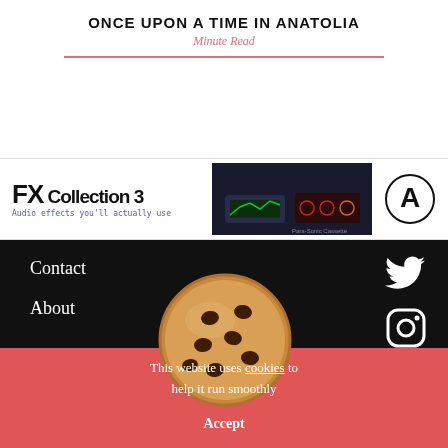ONCE UPON A TIME IN ANATOLIA
Minute Read
[Figure (screenshot): Advertisement banner for FX Collection 3 audio plugin — left side shows 'FX Collection 3' logo with tagline 'Audio effects you'll actually use' in monospace purple text; center shows dark plugin UI screenshot; right shows a circular 'A' logo icon]
Contact
About
[Figure (illustration): Cookie emoji (chocolate chip cookie) centered over the black/red boundary]
This website uses cookies to help it run smoothly
Accept